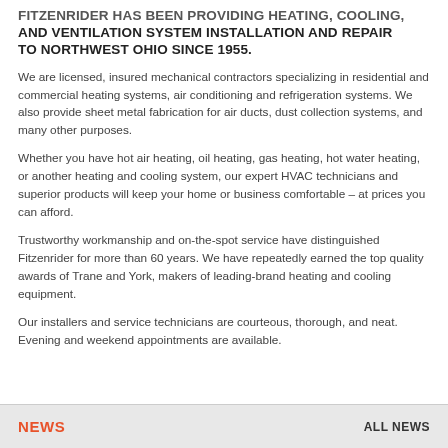FITZENRIDER HAS BEEN PROVIDING HEATING, COOLING, AND VENTILATION SYSTEM INSTALLATION AND REPAIR TO NORTHWEST OHIO SINCE 1955.
We are licensed, insured mechanical contractors specializing in residential and commercial heating systems, air conditioning and refrigeration systems. We also provide sheet metal fabrication for air ducts, dust collection systems, and many other purposes.
Whether you have hot air heating, oil heating, gas heating, hot water heating, or another heating and cooling system, our expert HVAC technicians and superior products will keep your home or business comfortable – at prices you can afford.
Trustworthy workmanship and on-the-spot service have distinguished Fitzenrider for more than 60 years. We have repeatedly earned the top quality awards of Trane and York, makers of leading-brand heating and cooling equipment.
Our installers and service technicians are courteous, thorough, and neat. Evening and weekend appointments are available.
NEWS   ALL NEWS